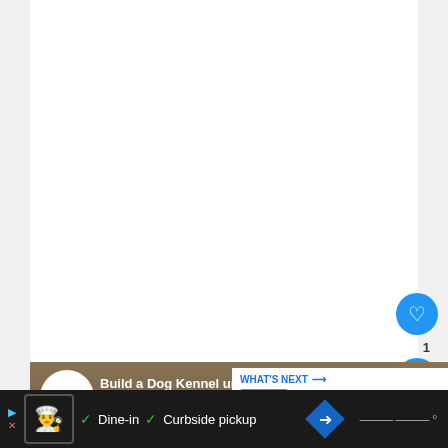[Figure (screenshot): White blank content area at top of page]
[Figure (screenshot): Heart/like button (blue circle with heart icon) and share button (blue circle with share icon), with count '1' between them, on right side]
[Figure (screenshot): YouTube video thumbnail showing 'Build a Dog Kennel under the st...' by Karell channel. Shows PALLET PROJECT DOG KENNEL text overlay on green arrow banner, YouTube play button, and 'WHAT'S NEXT: My Dog Ate Moldy Food ...' panel]
[Figure (screenshot): Bottom advertisement bar with chef logo, checkmarks for 'Dine-in' and 'Curbside pickup', navigation diamond icon, and Waze-style icon]